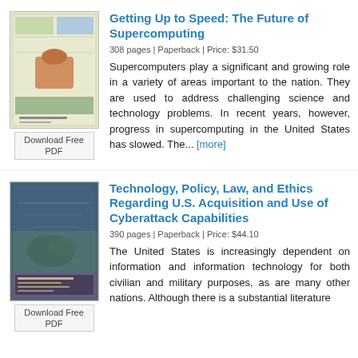Getting Up to Speed: The Future of Supercomputing
308 pages | Paperback | Price: $31.50
Supercomputers play a significant and growing role in a variety of areas important to the nation. They are used to address challenging science and technology problems. In recent years, however, progress in supercomputing in the United States has slowed. The... [more]
Technology, Policy, Law, and Ethics Regarding U.S. Acquisition and Use of Cyberattack Capabilities
390 pages | Paperback | Price: $44.10
The United States is increasingly dependent on information and information technology for both civilian and military purposes, as are many other nations. Although there is a substantial literature